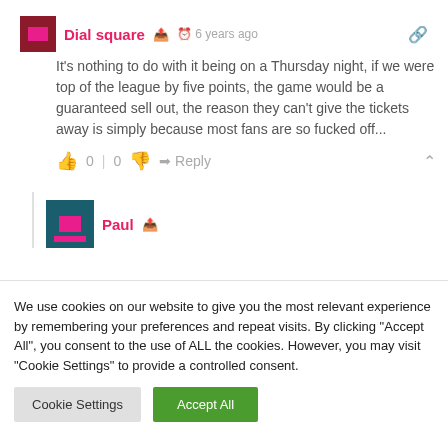Dial square · 6 years ago
It's nothing to do with it being on a Thursday night, if we were top of the league by five points, the game would be a guaranteed sell out, the reason they can't give the tickets away is simply because most fans are so fucked off...
0 | 0  Reply
Paul
We use cookies on our website to give you the most relevant experience by remembering your preferences and repeat visits. By clicking "Accept All", you consent to the use of ALL the cookies. However, you may visit "Cookie Settings" to provide a controlled consent.
Cookie Settings
Accept All